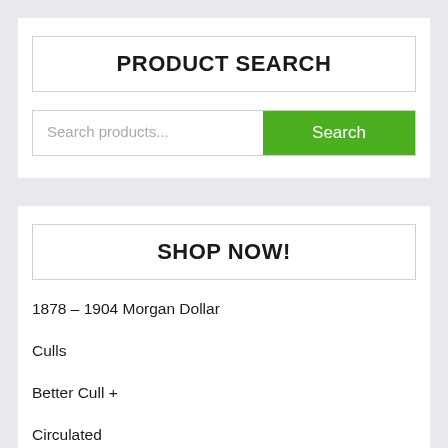PRODUCT SEARCH
Search products...
SHOP NOW!
1878 – 1904 Morgan Dollar
Culls
Better Cull +
Circulated
Almost Uncirculated